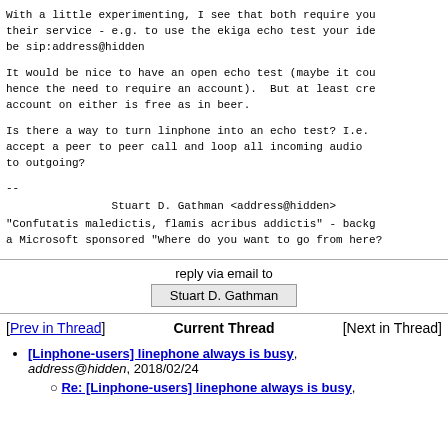With a little experimenting, I see that both require you to register with their service - e.g. to use the ekiga echo test your identity would need to be sip:address@hidden

It would be nice to have an open echo test (maybe it could log the IP, hence the need to require an account). But at least creating an account on either is free as in beer.

Is there a way to turn linphone into an echo test? I.e. to automatically accept a peer to peer call and loop all incoming audio to outgoing?

--
                Stuart D. Gathman <address@hidden>
"Confutatis maledictis, flamis acribus addictis" - background song for a Microsoft sponsored "Where do you want to go from here?"
reply via email to
Stuart D. Gathman
[Prev in Thread]    Current Thread    [Next in Thread]
[Linphone-users] linephone always is busy, address@hidden, 2018/02/24
Re: [Linphone-users] linephone always is busy,